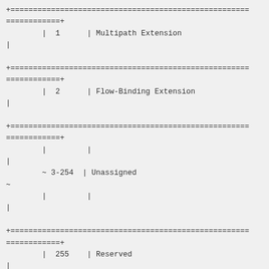| Value | Extension |
| --- | --- |
| 1 | Multipath Extension |
| 2 | Flow-Binding Extension |
| 3-254 | Unassigned |
| 255 | Reserved |